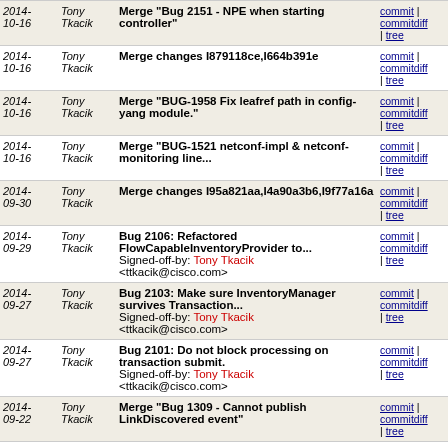| Date | Author | Message | Links |
| --- | --- | --- | --- |
| 2014-10-16 | Tony Tkacik | Merge "Bug 2151 - NPE when starting controller" | commit | commitdiff | tree |
| 2014-10-16 | Tony Tkacik | Merge changes I879118ce,I664b391e | commit | commitdiff | tree |
| 2014-10-16 | Tony Tkacik | Merge "BUG-1958 Fix leafref path in config-yang module." | commit | commitdiff | tree |
| 2014-10-16 | Tony Tkacik | Merge "BUG-1521 netconf-impl & netconf-monitoring line..." | commit | commitdiff | tree |
| 2014-09-30 | Tony Tkacik | Merge changes I95a821aa,I4a90a3b6,I9f77a16a | commit | commitdiff | tree |
| 2014-09-29 | Tony Tkacik | Bug 2106: Refactored FlowCapableInventoryProvider to...
Signed-off-by: Tony Tkacik <ttkacik@cisco.com> | commit | commitdiff | tree |
| 2014-09-27 | Tony Tkacik | Bug 2103: Make sure InventoryManager survives Transaction...
Signed-off-by: Tony Tkacik <ttkacik@cisco.com> | commit | commitdiff | tree |
| 2014-09-27 | Tony Tkacik | Bug 2101: Do not block processing on transaction submit.
Signed-off-by: Tony Tkacik <ttkacik@cisco.com> | commit | commitdiff | tree |
| 2014-09-22 | Tony Tkacik | Merge "Bug 1309 - Cannot publish LinkDiscovered event" | commit | commitdiff | tree |
| 2014-09-22 | Tony Tkacik | Merge "Bug 963 - OSGi error in Topology manager component..." | commit | commitdiff | tree |
| 2014-09-22 | Tony Tkacik | Bug 1025: Fixed incorrect revision in sal-remote-augment... | commit | commitdiff | tree |